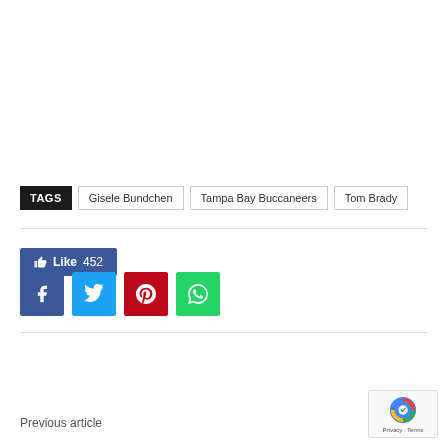TAGS   Gisele Bundchen   Tampa Bay Buccaneers   Tom Brady
Like 452
[Figure (other): Social share buttons: Facebook, Twitter, Pinterest, WhatsApp]
Previous article
N…
[Figure (other): reCAPTCHA badge with Privacy · Terms text]